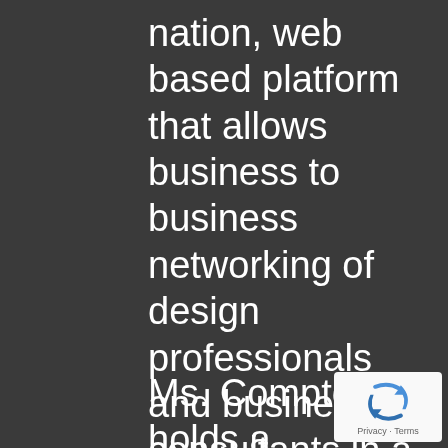nation, web based platform that allows business to business networking of design professionals and business consultants in a variety of areas including human resources, leadership, finance, marketing, management and legal.
Ms. Compton holds a Bachelor of Science